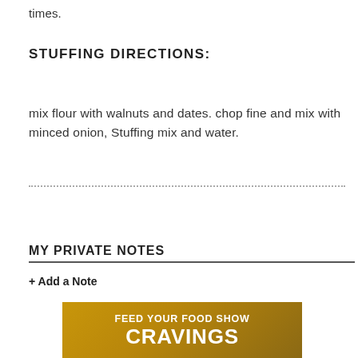times.
STUFFING DIRECTIONS:
mix flour with walnuts and dates. chop fine and mix with minced onion, Stuffing mix and water.
Submit a Recipe Correction
MY PRIVATE NOTES
+ Add a Note
[Figure (illustration): Advertisement banner with golden/brown gradient background reading 'FEED YOUR FOOD SHOW CRAVINGS' in white bold text]